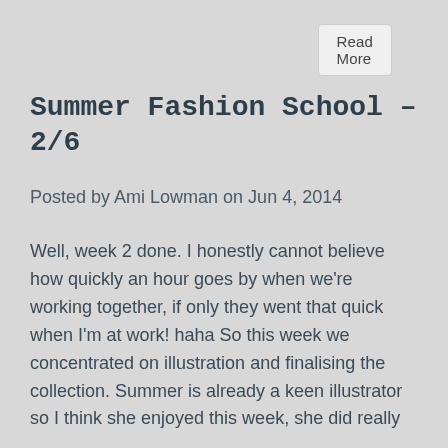Read More
Summer Fashion School – 2/6
Posted by Ami Lowman on Jun 4, 2014
Well, week 2 done. I honestly cannot believe how quickly an hour goes by when we're working together, if only they went that quick when I'm at work! haha So this week we concentrated on illustration and finalising the collection. Summer is already a keen illustrator so I think she enjoyed this week, she did really